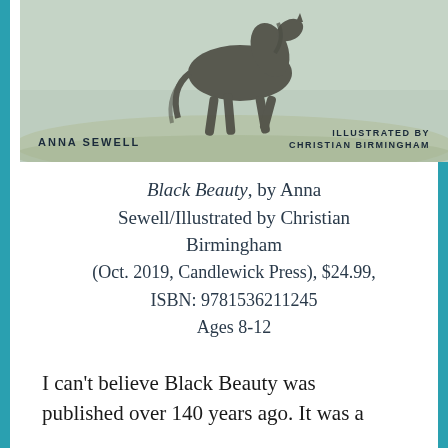[Figure (illustration): Book cover of Black Beauty showing a horse running in a field, with text 'ANNA SEWELL' on the left and 'ILLUSTRATED BY CHRISTIAN BIRMINGHAM' on the right]
Black Beauty, by Anna Sewell/Illustrated by Christian Birmingham (Oct. 2019, Candlewick Press), $24.99, ISBN: 9781536211245 Ages 8-12
I can't believe Black Beauty was published over 140 years ago. It was a